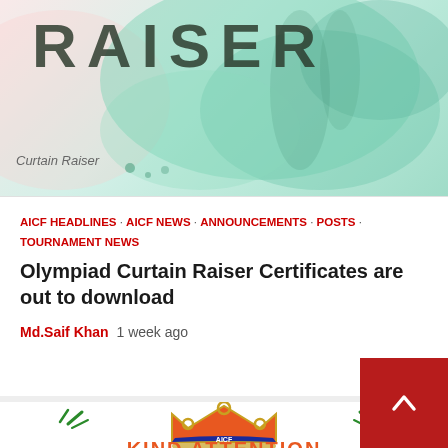[Figure (illustration): Banner header with large text 'RAISER' in dark letters over a watercolor green/teal and pink background. Small italic text 'Curtain Raiser' visible at bottom left of banner.]
AICF HEADLINES · AICF NEWS · ANNOUNCEMENTS · POSTS · TOURNAMENT NEWS
Olympiad Curtain Raiser Certificates are out to download
Md.Saif Khan  1 week ago
[Figure (logo): AICF crown logo in orange and gold with 'AICF' on a blue band, surrounded by green sparkle lines on left and right. 'KIND ATTENTION' text in bold orange at the bottom, curved upward.]